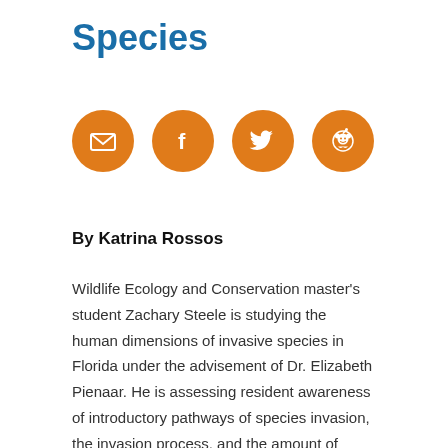Species
[Figure (infographic): Four orange circular social share buttons: email (envelope icon), Facebook (f icon), Twitter (bird icon), Reddit (alien icon)]
By Katrina Rossos
Wildlife Ecology and Conservation master's student Zachary Steele is studying the human dimensions of invasive species in Florida under the advisement of Dr. Elizabeth Pienaar. He is assessing resident awareness of introductory pathways of species invasion, the invasion process, and the amount of concern they have regarding species invasion. Steele is also looking at how Florida citizens support mitigation